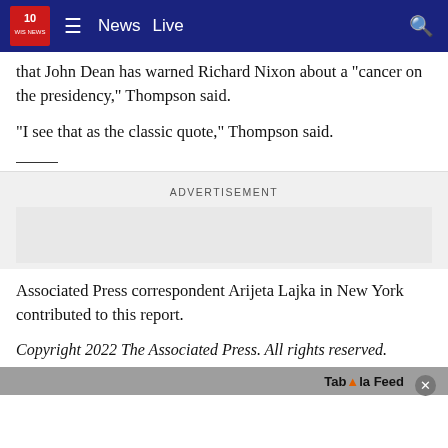10 WIS NEWS | News  Live
that John Dean has warned Richard Nixon about a “cancer on the presidency,” Thompson said.
“I see that as the classic quote,” Thompson said.
ADVERTISEMENT
Associated Press correspondent Arijeta Lajka in New York contributed to this report.
Copyright 2022 The Associated Press. All rights reserved.
Taboola Feed